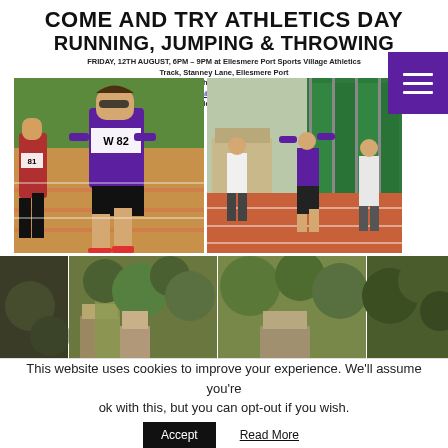COME AND TRY ATHLETICS DAY RUNNING, JUMPING & THROWING
FRIDAY, 12TH AUGUST, 6PM – 9PM at Ellesmere Port Sports Village Athletics Track, Stanney Lane, Ellesmere Port. Everyone is invited free of charge to try as many events as you like. Email: dennis.wall1@ntlworld.com Mobile: 07968 643038
[Figure (photo): Female athlete with race number W 82 sprinting on a red athletics track, another runner visible to the left with number 81]
[Figure (photo): Athletes on a red athletics track next to green fencing, one person with arms raised in celebration]
[Figure (photo): Outdoor scene with trees and buildings, appears to be near an athletics venue]
This website uses cookies to improve your experience. We'll assume you're ok with this, but you can opt-out if you wish.